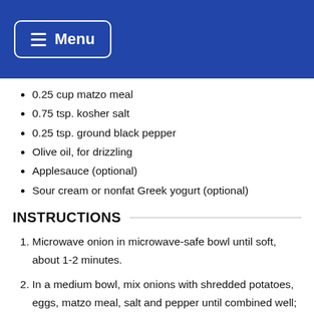Menu
0.25 cup matzo meal
0.75 tsp. kosher salt
0.25 tsp. ground black pepper
Olive oil, for drizzling
Applesauce (optional)
Sour cream or nonfat Greek yogurt (optional)
INSTRUCTIONS
Microwave onion in microwave-safe bowl until soft, about 1-2 minutes.
In a medium bowl, mix onions with shredded potatoes, eggs, matzo meal, salt and pepper until combined well; form into 12 pancakes. Place one layer of pancakes of lightly oiled or sprayed Air Fryer basket. (Do not overlap pancakes.)
Drizzle tops of latkes with a little olive oil. Cook at